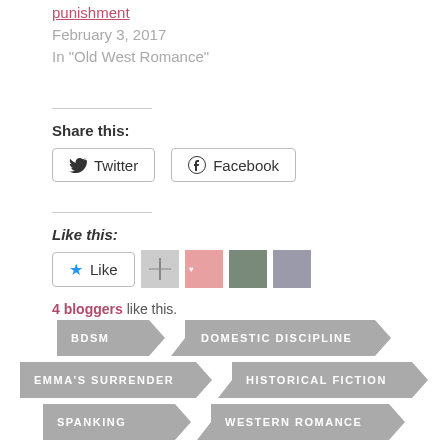punishment
February 3, 2017
In "Old West Romance"
Share this:
Twitter  Facebook
Like this:
Like  4 bloggers like this.
BDSM
DOMESTIC DISCIPLINE
EMMA'S SURRENDER
HISTORICAL FICTION
SPANKING
WESTERN ROMANCE